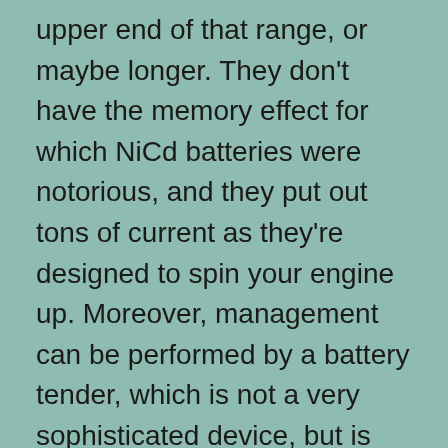upper end of that range, or maybe longer. They don't have the memory effect for which NiCd batteries were notorious, and they put out tons of current as they're designed to spin your engine up. Moreover, management can be performed by a battery tender, which is not a very sophisticated device, but is quite effective – you can entrust your battery to it, and it's generally good to go when you get it next year despite being otherwise neglected. A tender is a readily available piece of equipment and it might make sense just to use one in your design as is, although its monitoring abilities